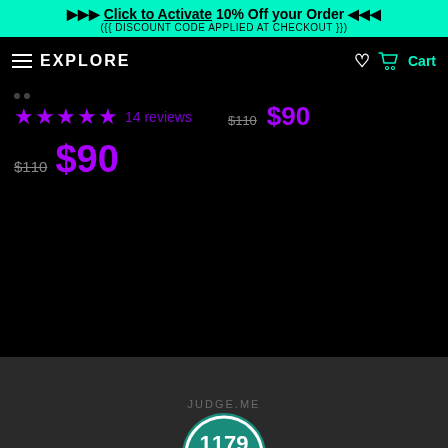▶▶▶ Click to Activate 10% Off your Order ◀◀◀
({{ DISCOUNT CODE APPLIED AT CHECKOUT }})
≡ EXPLORE | ♡ 🛒 Cart
★★★★★ 14 reviews   $110 $90
$110 $90
[Figure (logo): Judge.me Verified Reviews badge showing 1179 five-star verified reviews, teal/blue badge design with orange banner and laurel wreath]